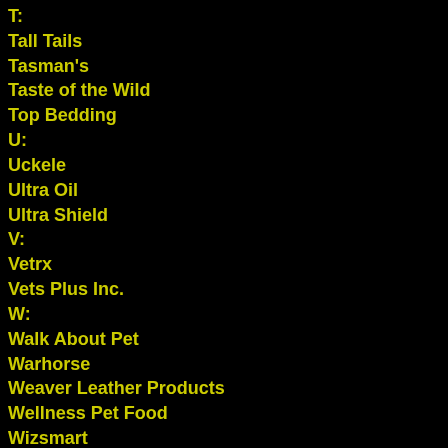T:
Tall Tails
Tasman's
Taste of the Wild
Top Bedding
U:
Uckele
Ultra Oil
Ultra Shield
V:
Vetrx
Vets Plus Inc.
W:
Walk About Pet
Warhorse
Weaver Leather Products
Wellness Pet Food
Wizsmart
Y:
Z: